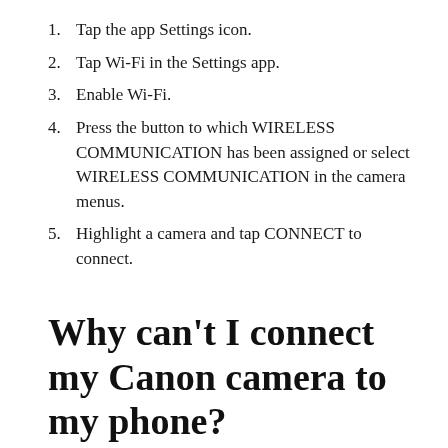1. Tap the app Settings icon.
2. Tap Wi-Fi in the Settings app.
3. Enable Wi-Fi.
4. Press the button to which WIRELESS COMMUNICATION has been assigned or select WIRELESS COMMUNICATION in the camera menus.
5. Highlight a camera and tap CONNECT to connect.
Why can’t I connect my Canon camera to my phone?
If you’re having trouble getting Cascable connected to your camera, follow these steps: Turn your camera off, wait a few seconds, then switch it back on again.